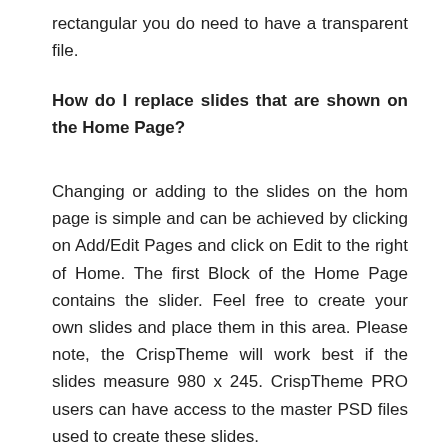rectangular you do need to have a transparent file.
How do I replace slides that are shown on the Home Page?
Changing or adding to the slides on the hom page is simple and can be achieved by clicking on Add/Edit Pages and click on Edit to the right of Home. The first Block of the Home Page contains the slider. Feel free to create your own slides and place them in this area. Please note, the CrispTheme will work best if the slides measure 980 x 245. CrispTheme PRO users can have access to the master PSD files used to create these slides.